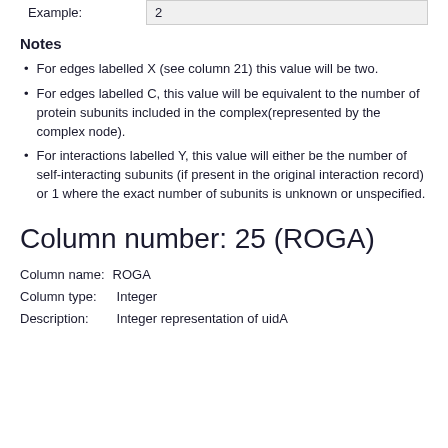|  |  |
| --- | --- |
| Example: | 2 |
Notes
For edges labelled X (see column 21) this value will be two.
For edges labelled C, this value will be equivalent to the number of protein subunits included in the complex(represented by the complex node).
For interactions labelled Y, this value will either be the number of self-interacting subunits (if present in the original interaction record) or 1 where the exact number of subunits is unknown or unspecified.
Column number: 25 (ROGA)
Column name:	ROGA
Column type:	Integer
Description:	Integer representation of uidA